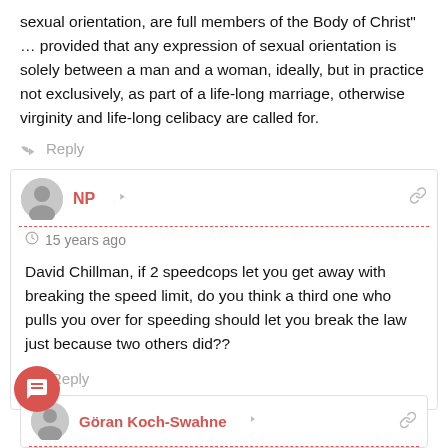sexual orientation, are full members of the Body of Christ" … provided that any expression of sexual orientation is solely between a man and a woman, ideally, but in practice not exclusively, as part of a life-long marriage, otherwise virginity and life-long celibacy are called for.
Reply
NP
15 years ago
David Chillman, if 2 speedcops let you get away with breaking the speed limit, do you think a third one who pulls you over for speeding should let you break the law just because two others did??
Reply
104
Göran Koch-Swahne